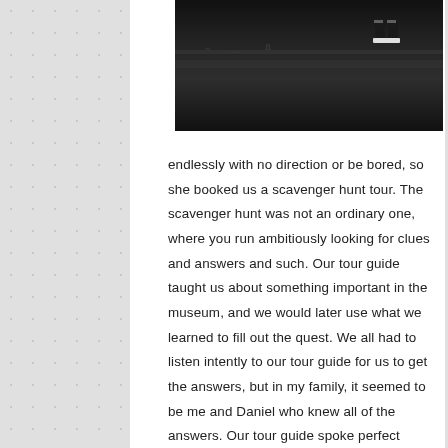[Figure (photo): Dark photograph showing a railing or ledge surface with a person's feet/shoes visible at the upper right, taken from a low angle. The image is largely dark/black tones.]
endlessly with no direction or be bored, so she booked us a scavenger hunt tour. The scavenger hunt was not an ordinary one, where you run ambitiously looking for clues and answers and such. Our tour guide taught us about something important in the museum, and we would later use what we learned to fill out the quest. We all had to listen intently to our tour guide for us to get the answers, but in my family, it seemed to be me and Daniel who knew all of the answers. Our tour guide spoke perfect English (she was